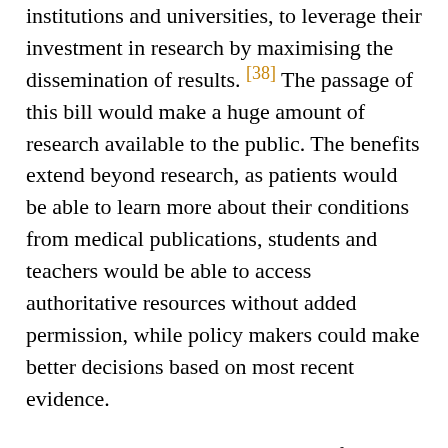institutions and universities, to leverage their investment in research by maximising the dissemination of results. [38] The passage of this bill would make a huge amount of research available to the public. The benefits extend beyond research, as patients would be able to learn more about their conditions from medical publications, students and teachers would be able to access authoritative resources without added permission, while policy makers could make better decisions based on most recent evidence.
In Canada, the Canadian Institute of Health Research put in place a public access policy in 2007, [39] while other major funding agencies in Canada are deliberating on the appropriate policy.